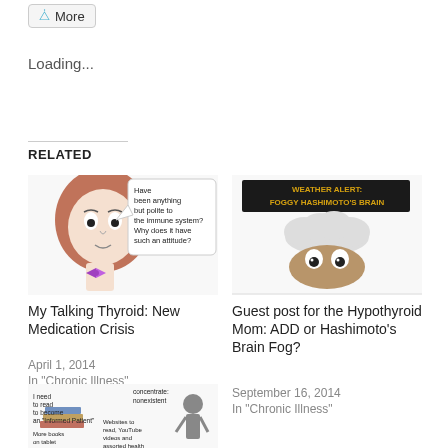More
Loading...
RELATED
[Figure (illustration): Cartoon illustration of a person with thyroid speech bubble saying 'Have been anything but polite to the immune system? Why does it have such an attitude?']
My Talking Thyroid: New Medication Crisis
April 1, 2014
In "Chronic Illness"
[Figure (illustration): Cartoon illustration of a person with a cloud head and weather alert sign reading 'WEATHER ALERT: FOGGY HASHIMOTO'S BRAIN']
Guest post for the Hypothyroid Mom: ADD or Hashimoto's Brain Fog?
September 16, 2014
In "Chronic Illness"
[Figure (illustration): Cartoon illustration of a person with text about 'informed patient' reading and concentration issues]